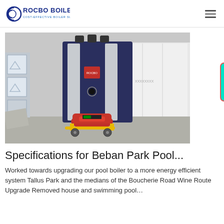ROCBO BOILER COST-EFFECTIVE BOILER SUPPLIER
[Figure (photo): Industrial gas steam boiler unit (Rocbo Boiler brand) with dark navy blue casing, silver vertical stripe panels, red burner assembly at base with yellow pipeline, displayed in a warehouse/factory setting with storage tanks and white wall panels in background.]
Specifications for Beban Park Pool...
Worked towards upgrading our pool boiler to a more energy efficient system Tallus Park and the medians of the Boucherie Road Wine Route Upgrade Removed house and swimming pool…